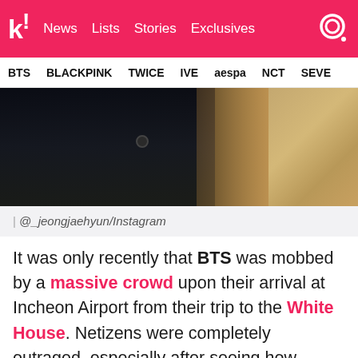k! News Lists Stories Exclusives
BTS BLACKPINK TWICE IVE aespa NCT SEVE
[Figure (photo): Close-up photo of a person wearing a dark blazer/jacket with an emblem, another person visible in background, golden/tan background on right side]
| @_jeongjaehyun/Instagram
It was only recently that BTS was mobbed by a massive crowd upon their arrival at Incheon Airport from their trip to the White House. Netizens were completely outraged, especially after seeing how politely the members handled it, despite being jostled by so many people.
[Figure (photo): Partial bottom image showing what appears to be an airport or public space scene]